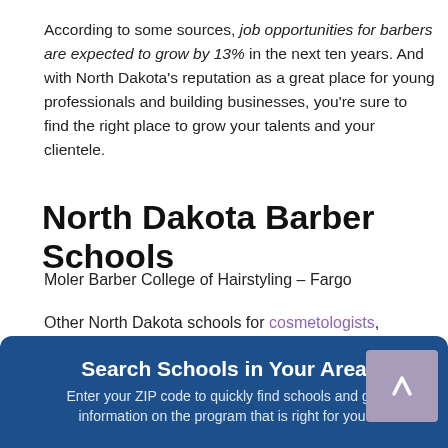According to some sources, job opportunities for barbers are expected to grow by 13% in the next ten years. And with North Dakota's reputation as a great place for young professionals and building businesses, you're sure to find the right place to grow your talents and your clientele.
North Dakota Barber Schools
Moler Barber College of Hairstyling – Fargo
Other North Dakota schools for cosmetologists, estheticians, nail techs.
Search Schools in Your Area
Enter your ZIP code to quickly find schools and get information on the program that is right for you.